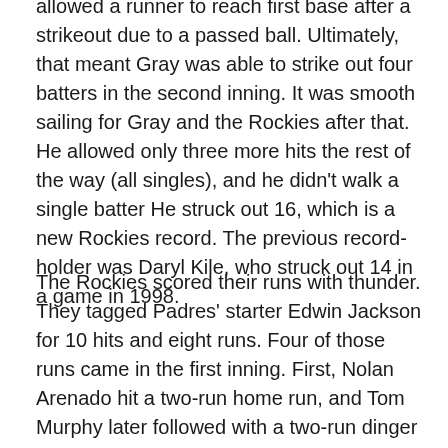allowed a runner to reach first base after a strikeout due to a passed ball. Ultimately, that meant Gray was able to strike out four batters in the second inning. It was smooth sailing for Gray and the Rockies after that. He allowed only three more hits the rest of the way (all singles), and he didn't walk a single batter He struck out 16, which is a new Rockies record. The previous record-holder was Daryl Kile, who struck out 14 in a game in 1998.
The Rockies scored their runs with thunder. They tagged Padres' starter Edwin Jackson for 10 hits and eight runs. Four of those runs came in the first inning. First, Nolan Arenado hit a two-run home run, and Tom Murphy later followed with a two-run dinger of his own. That put the Rockies up 4-0 early. In the fourth, Charlie Blackmon tripled in a run. The Rockies topped off their